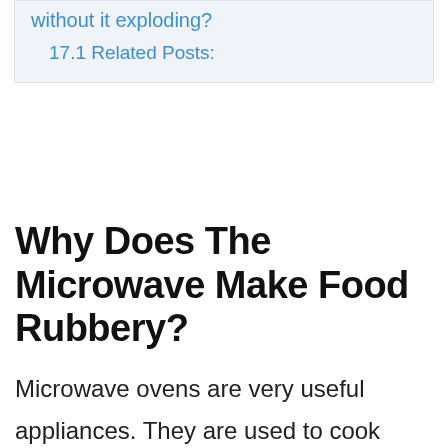without it exploding?
17.1 Related Posts:
Why Does The Microwave Make Food Rubbery?
Microwave ovens are very useful appliances. They are used to cook many different types of food such as vegetables, meat, fish, eggs, bread,